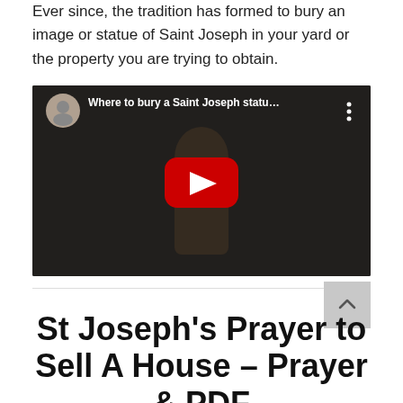Ever since, the tradition has formed to bury an image or statue of Saint Joseph in your yard or the property you are trying to obtain.
[Figure (screenshot): YouTube video thumbnail showing a person in a brown robe with a dark overlay and red play button. Video title reads 'Where to bury a Saint Joseph statu...']
St Joseph's Prayer to Sell A House – Prayer & PDF